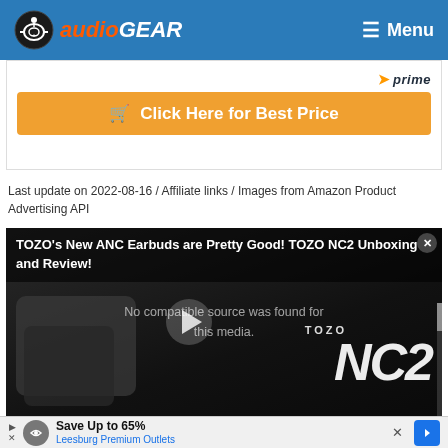AudioGEAR — Menu
[Figure (screenshot): Orange 'Click Here for Best Price' button with cart icon, Amazon Prime badge above it]
Last update on 2022-08-16 / Affiliate links / Images from Amazon Product Advertising API
[Figure (screenshot): Embedded video player showing TOZO NC2 earbuds with title 'TOZO's New ANC Earbuds are Pretty Good! TOZO NC2 Unboxing and Review!' and a 'No compatible source was found for this media.' message with play button overlay]
[Figure (screenshot): Advertisement banner: Save Up to 65% Leesburg Premium Outlets with logo and navigation icon]